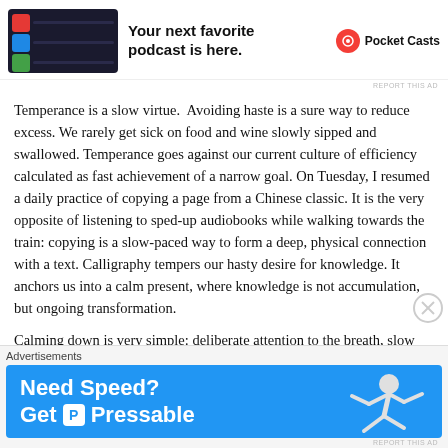[Figure (infographic): Pocket Casts app advertisement banner with phone screenshot on left, tagline 'Your next favorite podcast is here.' and Pocket Casts logo on right]
REPORT THIS AD
Temperance is a slow virtue.  Avoiding haste is a sure way to reduce excess. We rarely get sick on food and wine slowly sipped and swallowed. Temperance goes against our current culture of efficiency calculated as fast achievement of a narrow goal. On Tuesday, I resumed a daily practice of copying a page from a Chinese classic. It is the very opposite of listening to sped-up audiobooks while walking towards the train: copying is a slow-paced way to form a deep, physical connection with a text. Calligraphy tempers our hasty desire for knowledge. It anchors us into a calm present, where knowledge is not accumulation, but ongoing transformation.
Calming down is very simple: deliberate attention to the breath, slow movements of the arms up and down, a few minutes of
[Figure (infographic): Pressable hosting advertisement banner with blue background, 'Need Speed? Get Pressable' text and runner figure on right]
REPORT THIS AD